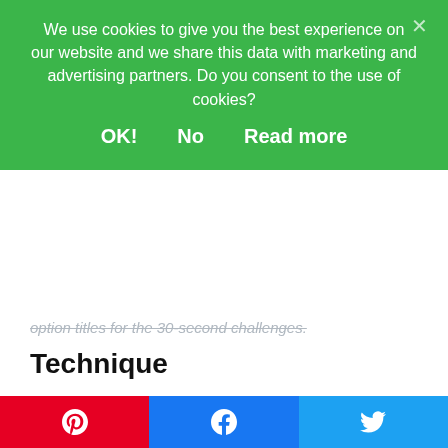We use cookies to give you the best experience on our website and we share this data with marketing and advertising partners. Do you consent to the use of cookies?
OK!   No   Read more
option titles for the 30-second challenges.
Technique
I base the parameters of the technique challenge on whichever method book or other technique program my student is working on.
For Piano Safari, they would achieve